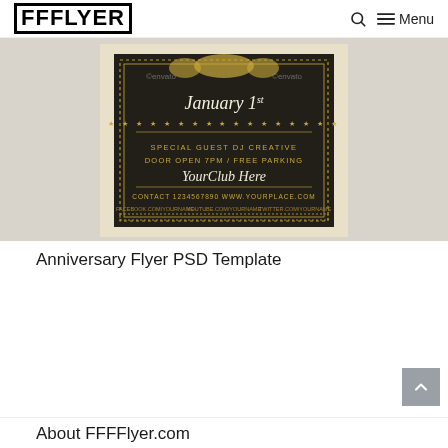FFFLYER  🔍  ☰ Menu
[Figure (illustration): Anniversary Flyer PSD Template preview — dark/black textured background with gold ornamental border, dotted border frame, text reading 'January 1st', stars row, 'SPECIAL GUEST DJ CREATIVE', 'DOOR OPEN 7PM / FREE PARKING', 'YourClub Here' in script, 'CONTACT 1234567890 WWW.YOURPLACE.COM', social media links. Envato watermarks visible. Cream/beige outer border.]
Anniversary Flyer PSD Template
About FFFFlyer.com